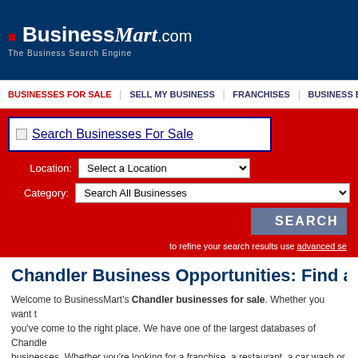[Figure (logo): BusinessMart.com logo with tagline 'The Business Search Engine' on dark navy background]
BUSINESSES FOR SALE | SELL MY BUSINESS | FRANCHISES | BUSINESS BRO
[Figure (screenshot): Search Businesses For Sale banner image]
Location: Select a Location
Category: Search All Businesses
SEARCH
to refine your search results use advanced se
Chandler Business Opportunities: Find a Chandl
Welcome to BusinessMart's Chandler businesses for sale. Whether you want to buy or sell a business, you've come to the right place. We have one of the largest databases of Chandler businesses. Whether you're looking for a franchise, a restaurant, a car wash or a business begins here.
All business categories are listed below; for a specific category, select one in the